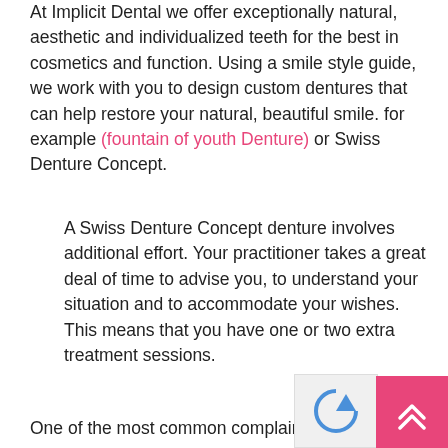At Implicit Dental we offer exceptionally natural, aesthetic and individualized teeth for the best in cosmetics and function. Using a smile style guide, we work with you to design custom dentures that can help restore your natural, beautiful smile. for example (fountain of youth Denture) or Swiss Denture Concept.
A Swiss Denture Concept denture involves additional effort. Your practitioner takes a great deal of time to advise you, to understand your situation and to accommodate your wishes. This means that you have one or two extra treatment sessions.
One of the most common complaints we